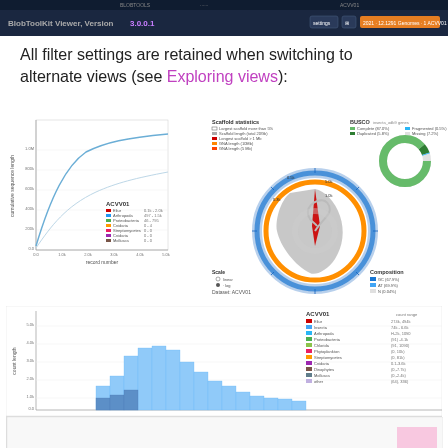[Figure (screenshot): Dark navy toolbar/header of a bioinformatics viewer application showing title 'BlobToolKit Viewer, Version 3.0.0.1' with navigation buttons and orange action button on the right]
All filter settings are retained when switching to alternate views (see Exploring views):
[Figure (line-chart): Cumulative scaffold length curve chart with record number on x-axis, cumulative sequence length on y-axis, with legend showing ACVV01 and colored series entries]
[Figure (other): Circular genome statistics visualization showing Scaffold statistics legend, BUSCO scores donut chart (green), and composition rings (blue/orange/gray) for Dataset ACVV01]
[Figure (histogram): Histogram of count vs scaffold length for dataset ACVV01 with light blue bars and colored legend showing taxonomic groups]
[Figure (screenshot): Partial bottom strip showing beginning of another chart view]